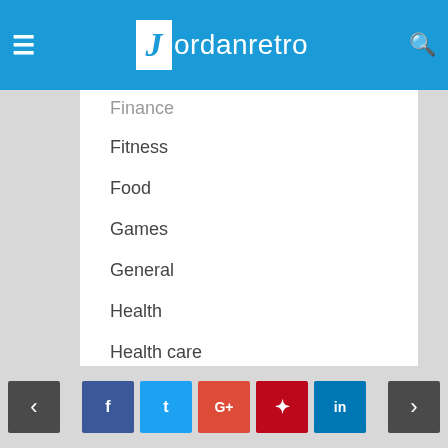Jordanretro
Finance
Fitness
Food
Games
General
Health
Health care
Health Tips
Home
Home Improvement
Insurance
Law
< f t G+ p in >